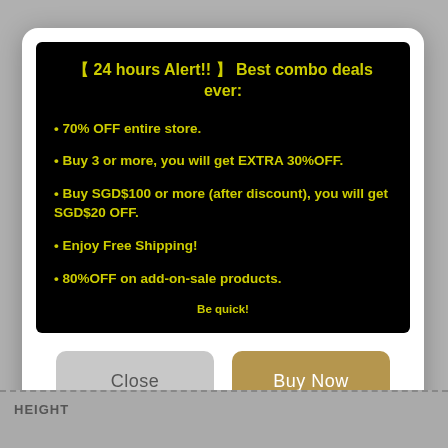【 24 hours Alert!! 】 Best combo deals ever:
• 70% OFF entire store.
• Buy 3 or more, you will get EXTRA 30%OFF.
• Buy SGD$100 or more (after discount), you will get SGD$20 OFF.
• Enjoy Free Shipping!
• 80%OFF on add-on-sale products.
Be quick!
Close
Buy Now